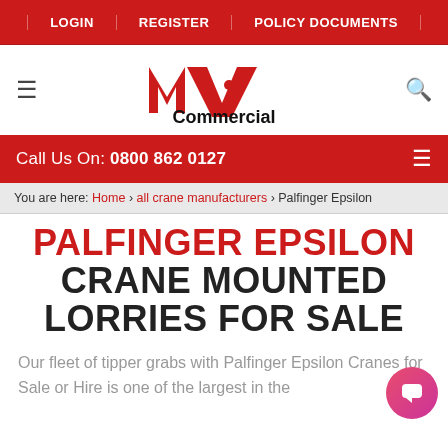LOGIN | REGISTER | POLICY DOCUMENTS
[Figure (logo): MV Commercial logo with red stylized M-V and 'Commercial' in bold black text]
Call Us On: 0800 862 0127
You are here: Home › all crane manufacturers › Palfinger Epsilon
PALFINGER EPSILON CRANE MOUNTED LORRIES FOR SALE
Our fleet of tipper grabs with Palfinger Epsilon Cranes for Sale or Hire is one of the largest in the